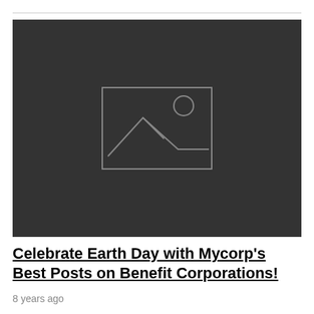[Figure (photo): Dark placeholder image with a gray image icon (mountain and sun outline) centered on a dark background]
Celebrate Earth Day with Mycorp’s Best Posts on Benefit Corporations!
8 years ago